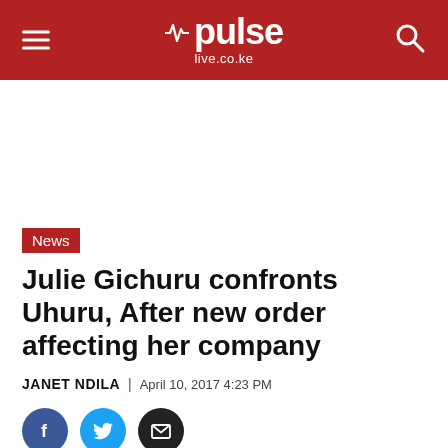pulse live.co.ke
[Figure (other): White blank advertisement space]
News
Julie Gichuru confronts Uhuru, After new order affecting her company
JANET NDILA | April 10, 2017 4:23 PM
[Figure (other): Social share icons: Facebook, Twitter, Email]